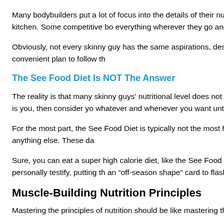Many bodybuilders put a lot of focus into the details of their nutritiona pencil are common items found in their kitchen. Some competitive bo everything wherever they go and scribbling numbers into their notepa
Obviously, not every skinny guy has the same aspirations, desire and successful today if they have a quick and convenient plan to follow th
The See Food Diet Is NOT The Answer
The reality is that many skinny guys' nutritional level does not exceed avoid getting a potbelly in the process. If this is you, then consider yo whatever and whenever you want until you're ready to audition for Ra
For the most part, the See Food Diet is typically not the most healthy concept to shift a skinny guy's mind-set than anything else. These da
Sure, you can eat a super high calorie diet, like the See Food Diet, a experience, and I'm sure many of you can personally testify, putting th an “off-season shape” card to flash year-round to excuse themselves
Muscle-Building Nutrition Principles
Mastering the principles of nutrition should be like mastering the princ